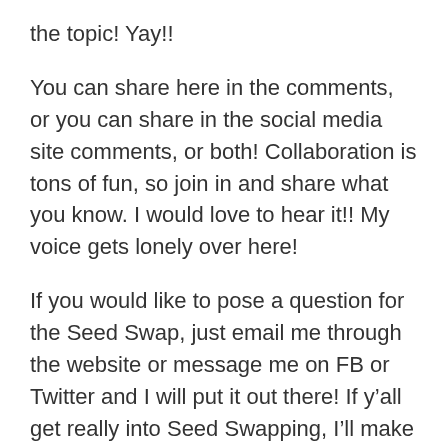the topic! Yay!!
You can share here in the comments, or you can share in the social media site comments, or both! Collaboration is tons of fun, so join in and share what you know. I would love to hear it!! My voice gets lonely over here!
If you would like to pose a question for the Seed Swap, just email me through the website or message me on FB or Twitter and I will put it out there! If y’all get really into Seed Swapping, I’ll make it weekly.  Maybe I’ll even make a private Wings, Worms, and Wonder FB group where we can discuss all kinds of garden and nature-y